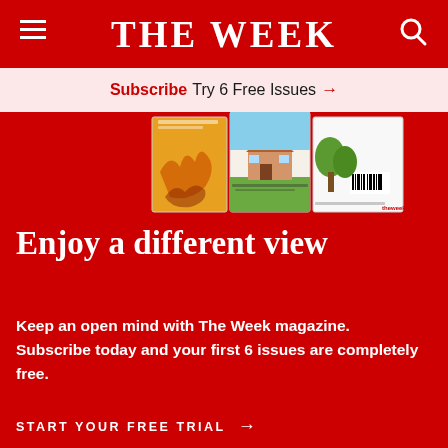THE WEEK
Subscribe Try 6 Free Issues →
[Figure (photo): Stack of The Week magazine covers partially visible]
Enjoy a different view
Keep an open mind with The Week magazine. Subscribe today and your first 6 issues are completely free.
START YOUR FREE TRIAL →